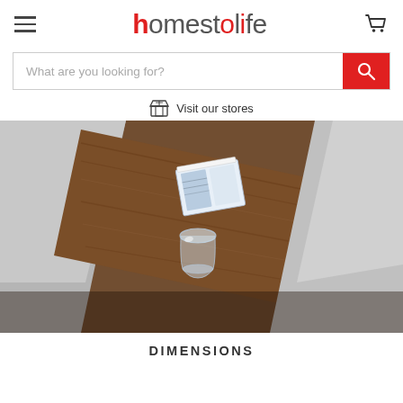homestolife
What are you looking for?
Visit our stores
[Figure (photo): Close-up photo of a sofa armrest with a wooden tray/panel, a glass and a small book/magazine on the wood surface, grey leather upholstery visible on either side]
DIMENSIONS